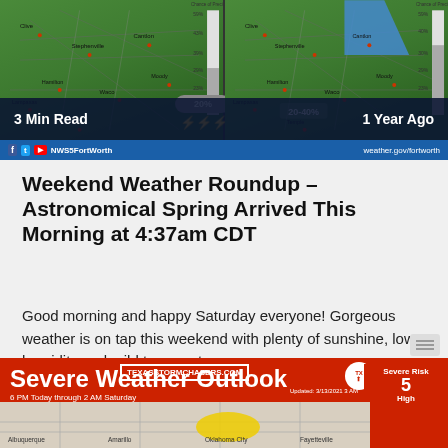[Figure (map): Two side-by-side weather forecast maps from NWS Fort Worth showing precipitation chance for the region. Left map shows 20% chance with thunderstorm icon. Right map shows 20-40% chance with blue arrow. Labels: '3 Min Read' and '1 Year Ago'. Social media icons and website weather.gov/fortworth shown at bottom.]
Weekend Weather Roundup – Astronomical Spring Arrived This Morning at 4:37am CDT
Good morning and happy Saturday everyone! Gorgeous weather is on tap this weekend with plenty of sunshine, low humidity and mild temperatures.
[Figure (map): Severe Weather Outlook banner showing a map with yellow severe risk area. Includes TEXASSTORMCHASERS.COM logo, cities Amarillo, Oklahoma City, Fayetteville, Albuquerque labeled. Severe Risk level 5 High shown on right side. Updated 3/13/2021 5 AM text shown.]